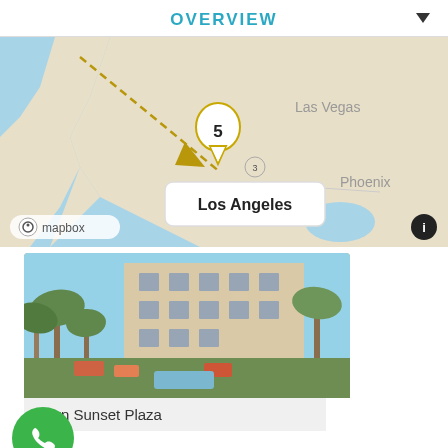OVERVIEW
[Figure (map): Mapbox map showing the California/Nevada/Arizona region. A numbered marker (5) is placed over Los Angeles with a tooltip label reading 'Los Angeles'. A dashed route line extends from the marker northwest. Cities 'Las Vegas' and 'Phoenix' are labeled on the map. The Mapbox logo and an info icon are visible at the bottom of the map.]
[Figure (photo): Exterior/courtyard photo of the Best Western Sunset Plaza hotel, showing palm trees, a building facade with windows, and outdoor seating/furniture area.]
stern Sunset Plaza
Enhance your experience